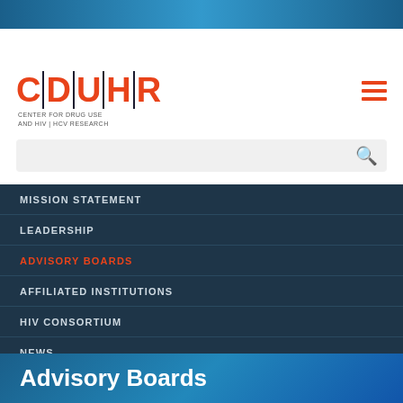[Figure (logo): CDUHR - Center for Drug Use and HIV | HCV Research logo with orange lettering and vertical bar separators]
[Figure (screenshot): Search bar with orange magnifying glass icon]
MISSION STATEMENT
LEADERSHIP
ADVISORY BOARDS
AFFILIATED INSTITUTIONS
HIV CONSORTIUM
NEWS
Advisory Boards